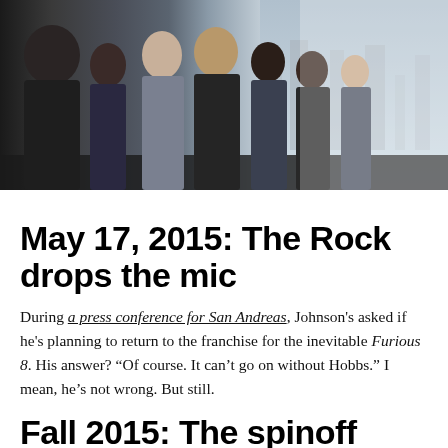[Figure (photo): Movie promotional image showing a group of cast members from Fast and Furious standing in a row against a cityscape background. Several muscular and diverse actors/actresses are shown in profile view.]
May 17, 2015: The Rock drops the mic
During a press conference for San Andreas, Johnson's asked if he's planning to return to the franchise for the inevitable Furious 8. His answer? “Of course. It can't go on without Hobbs.” I mean, he's not wrong. But still.
Fall 2015: The spinoff